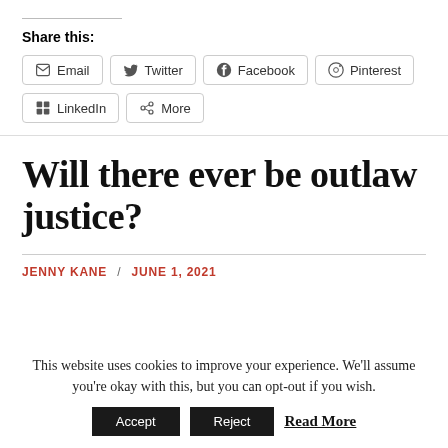Share this:
Email
Twitter
Facebook
Pinterest
LinkedIn
More
Will there ever be outlaw justice?
JENNY KANE / JUNE 1, 2021
This website uses cookies to improve your experience. We'll assume you're okay with this, but you can opt-out if you wish.
Accept   Reject   Read More